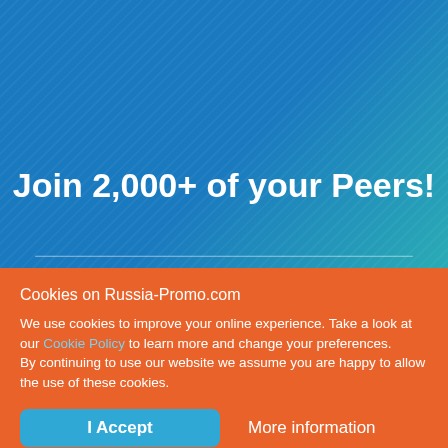Join 2,000+ of your Peers!
Cookies on Russia-Promo.com
We use cookies to improve your online experience. Take a look at our Cookie Policy to learn more and change your preferences.
By continuing to use our website we assume you are happy to allow the use of these cookies.
I Accept
More information